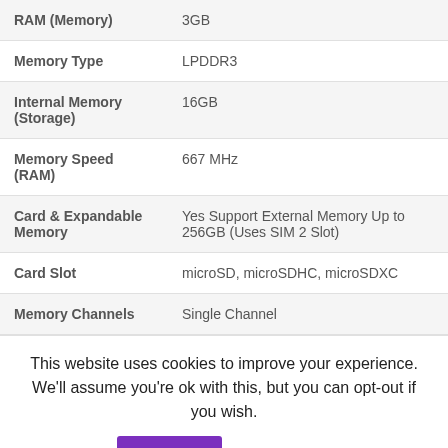| Specification | Value |
| --- | --- |
| RAM (Memory) | 3GB |
| Memory Type | LPDDR3 |
| Internal Memory (Storage) | 16GB |
| Memory Speed (RAM) | 667 MHz |
| Card & Expandable Memory | Yes Support External Memory Up to 256GB (Uses SIM 2 Slot) |
| Card Slot | microSD, microSDHC, microSDXC |
| Memory Channels | Single Channel |
This website uses cookies to improve your experience. We'll assume you're ok with this, but you can opt-out if you wish.
Accept | Read More